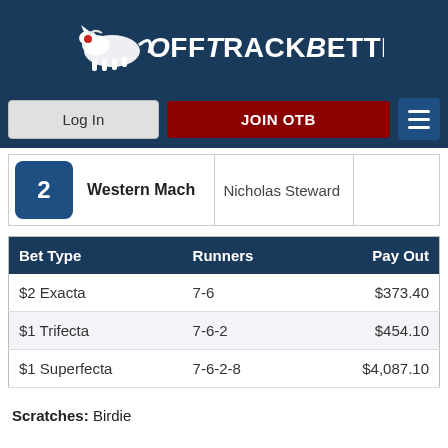OffTrackBetting
|  | Western Mach | Nicholas Steward |  |
| --- | --- | --- | --- |
| 2 | Western Mach | Nicholas Steward |  |
| Bet Type | Runners | Pay Out |
| --- | --- | --- |
| $2 Exacta | 7-6 | $373.40 |
| $1 Trifecta | 7-6-2 | $454.10 |
| $1 Superfecta | 7-6-2-8 | $4,087.10 |
Scratches: Birdie
Purse: $4,000 Distance: ONE MILE
Scheduled Post: 11:52 PM
Conditions: FILLIES & MARES - CLAIMING $6500 (W ALL) - FOR NW $1000, LAST 5 OR $30000